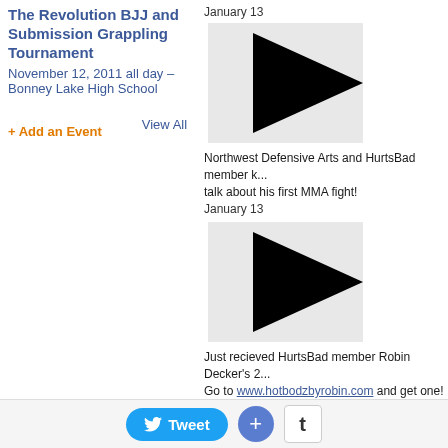The Revolution BJJ and Submission Grappling Tournament
November 12, 2011 all day – Bonney Lake High School
+ Add an Event   View All
January 13
[Figure (photo): Black triangle play button thumbnail for video 1]
Northwest Defensive Arts and HurtsBad member talk about his first MMA fight!
January 13
[Figure (photo): Black triangle play button thumbnail for video 2]
Just recieved HurtsBad member Robin Decker's 2. Go to www.hotbodzbyrobin.com and get one!
January 13
Wayne L. Brannon commented on Wayne L. Bran...